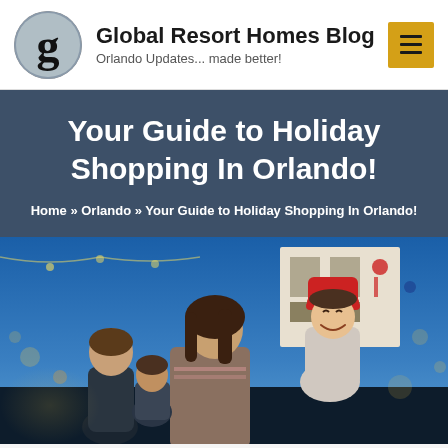Global Resort Homes Blog — Orlando Updates... made better!
Your Guide to Holiday Shopping In Orlando!
Home » Orlando » Your Guide to Holiday Shopping In Orlando!
[Figure (photo): Family at a holiday outdoor event at night. A woman carries a laughing child wearing a red knit hat on her shoulders. A man and another child are visible in the background. Festive lights and decorations are visible.]